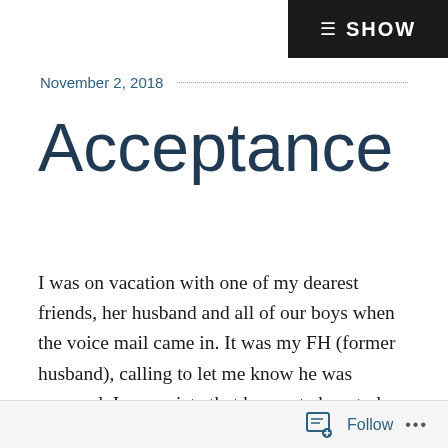SHOW
November 2, 2018
Acceptance
I was on vacation with one of my dearest friends, her husband and all of our boys when the voice mail came in. It was my FH (former husband), calling to let me know he was engaged. I appreciate that he wanted me to hear it from him and not through the grapevine. Fortunately, we were on vacation at the beach because my next
Follow ...